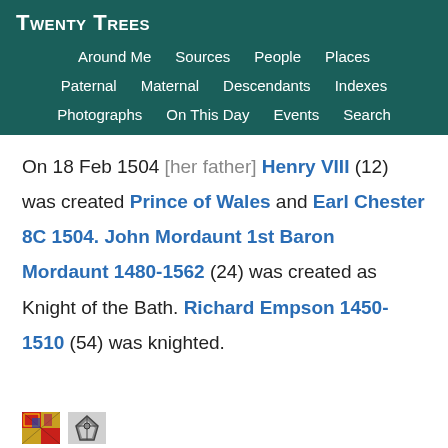Twenty Trees
Around Me
Sources
People
Places
Paternal
Maternal
Descendants
Indexes
Photographs
On This Day
Events
Search
On 18 Feb 1504 [her father] Henry VIII (12) was created Prince of Wales and Earl Chester 8C 1504. John Mordaunt 1st Baron Mordaunt 1480-1562 (24) was created as Knight of the Bath. Richard Empson 1450-1510 (54) was knighted.
[Figure (illustration): Two small heraldic coat of arms images at the bottom]